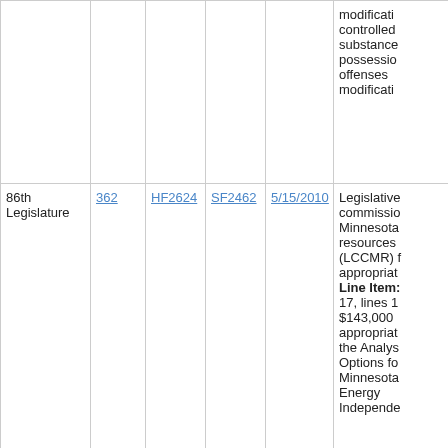| Legislature | Chapter | HF | SF | Date | Description |
| --- | --- | --- | --- | --- | --- |
|  |  |  |  |  | modifications controlled substance possession offenses modifications |
| 86th Legislature | 362 | HF2624 | SF2462 | 5/15/2010 | Legislative commission Minnesota resources (LCCMR) for appropriations Line Item: 17, lines 13 $143,000 appropriations the Analysis Options for Minnesota Energy Independence |